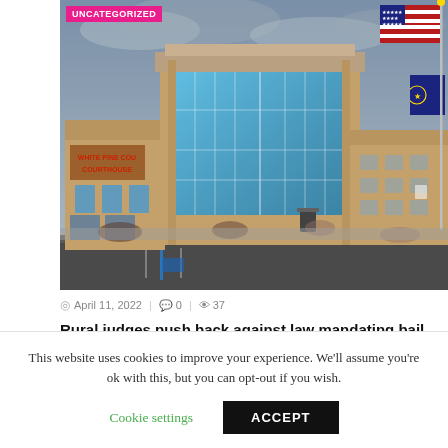[Figure (photo): Exterior photo of White Pine County Courthouse, a modern tan brick building with large glass windows and US and Nevada state flags on a flagpole, under a cloudy sky. A red badge reading UNCATEGORIZED is overlaid in the top-left corner.]
April 11, 2022  |  0  |  37
Rural judges push back against law mandating bail hearings
This website uses cookies to improve your experience. We'll assume you're ok with this, but you can opt-out if you wish.
Cookie settings   ACCEPT